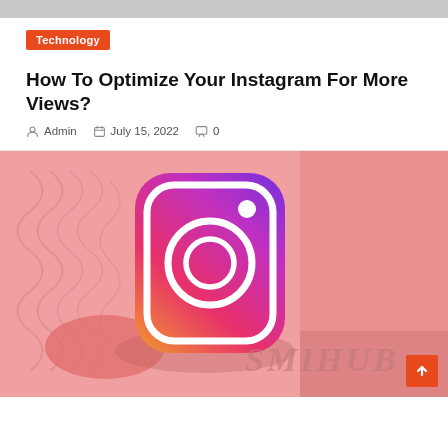Technology
How To Optimize Your Instagram For More Views?
Admin   July 15, 2022   0
[Figure (illustration): 3D Instagram logo icon with gradient purple-pink-orange colors, floating on a pink geometric background with wavy surface. SMIHUB watermark text visible in lower right. A back-to-top orange button in lower right corner.]